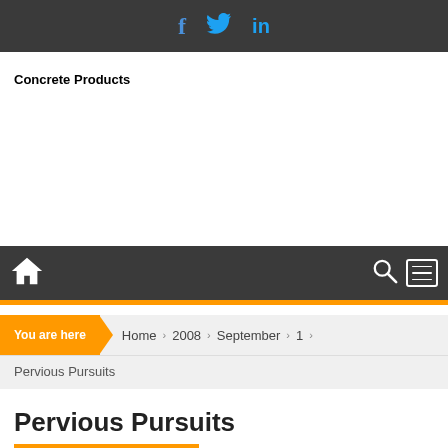Social icons: Facebook, Twitter, LinkedIn
Concrete Products
[Figure (other): Navigation bar with home icon, search icon, and hamburger menu icon on dark background]
You are here > Home > 2008 > September > 1 > Pervious Pursuits
Pervious Pursuits